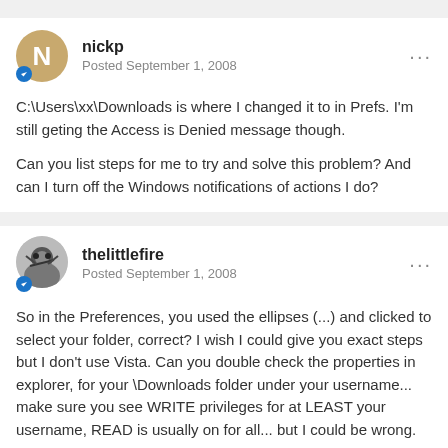nickp
Posted September 1, 2008
C:\Users\xx\Downloads is where I changed it to in Prefs. I'm still geting the Access is Denied message though.

Can you list steps for me to try and solve this problem? And can I turn off the Windows notifications of actions I do?
thelittlefire
Posted September 1, 2008
So in the Preferences, you used the ellipses (...) and clicked to select your folder, correct? I wish I could give you exact steps but I don't use Vista. Can you double check the properties in explorer, for your \Downloads folder under your username... make sure you see WRITE privileges for at LEAST your username, READ is usually on for all... but I could be wrong.